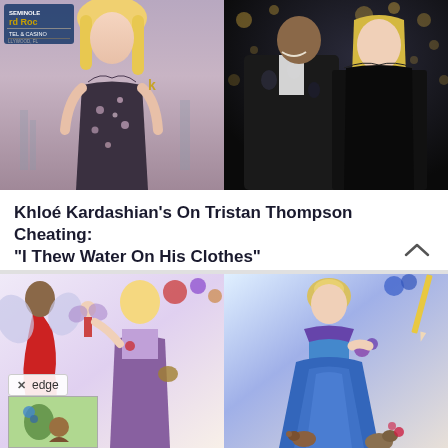[Figure (photo): Two photos side by side: left shows a blonde woman in a floral dress at Hard Rock Hotel & Casino Hollywood FL; right shows a couple at an event with bokeh lights in background]
Khloé Kardashian's On Tristan Thompson Cheating: "I Thew Water On His Clothes"
[Figure (illustration): Two illustrated images of Disney princess artwork: left shows a fairy and a blonde princess in medieval outfit, right shows Cinderella in blue gown. An 'edge' browser badge overlay appears on the left image.]